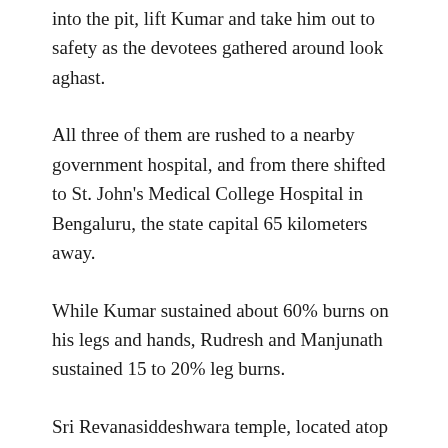into the pit, lift Kumar and take him out to safety as the devotees gathered around look aghast.
All three of them are rushed to a nearby government hospital, and from there shifted to St. John's Medical College Hospital in Bengaluru, the state capital 65 kilometers away.
While Kumar sustained about 60% burns on his legs and hands, Rudresh and Manjunath sustained 15 to 20% leg burns.
Sri Revanasiddeshwara temple, located atop a hill about 3000 feet above sea level, is an abode of a form of Lord Shiva and is considered sacred by Shaiva followers.